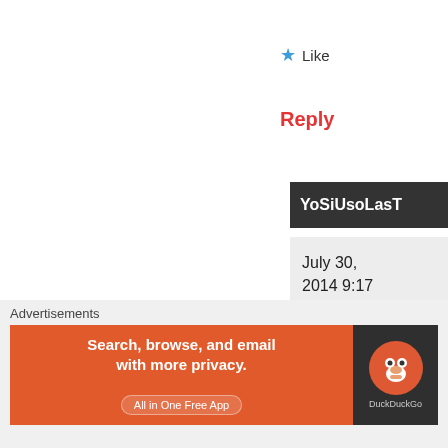★ Like
Reply
YoSiUsoLasT
July 30, 2014 9:17 pm
[Figure (illustration): Pixel art avatar in green and yellow colors on green background]
Yeah I bet
Advertisements
[Figure (screenshot): DuckDuckGo advertisement banner: orange section with text 'Search, browse, and email with more privacy. All in One Free App' and dark section with DuckDuckGo duck logo]